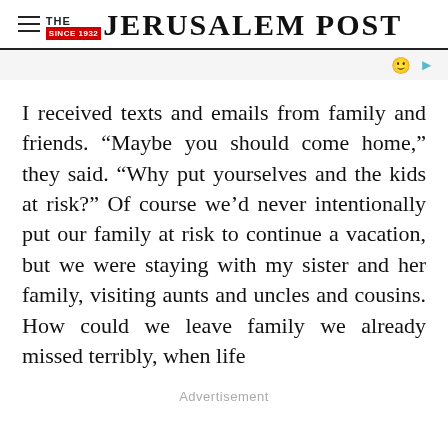THE JERUSALEM POST
I received texts and emails from family and friends. “Maybe you should come home,” they said. “Why put yourselves and the kids at risk?” Of course we’d never intentionally put our family at risk to continue a vacation, but we were staying with my sister and her family, visiting aunts and uncles and cousins. How could we leave family we already missed terribly, when life
Advertisement